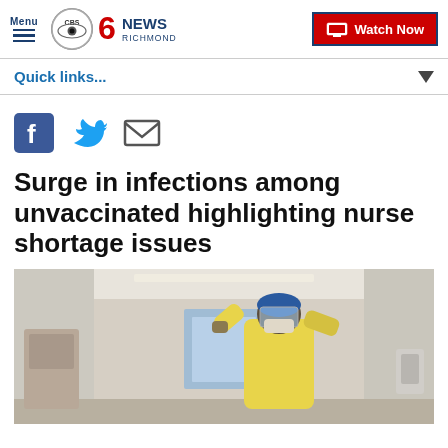CBS 6 News Richmond — Menu / Watch Now
Quick links...
[Figure (screenshot): Social sharing icons: Facebook, Twitter, Email]
Surge in infections among unvaccinated highlighting nurse shortage issues
[Figure (photo): A healthcare worker in full PPE (yellow gown, face shield, mask, gloves) in a hospital hallway]